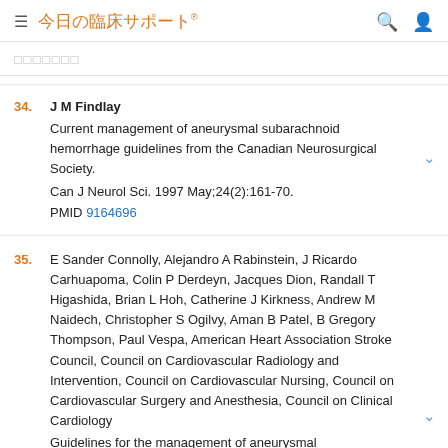今日の臨床サポート
文献文献文献文献
34. J M Findlay
Current management of aneurysmal subarachnoid hemorrhage guidelines from the Canadian Neurosurgical Society.
Can J Neurol Sci. 1997 May;24(2):161-70.
PMID 9164696
35. E Sander Connolly, Alejandro A Rabinstein, J Ricardo Carhuapoma, Colin P Derdeyn, Jacques Dion, Randall T Higashida, Brian L Hoh, Catherine J Kirkness, Andrew M Naidech, Christopher S Ogilvy, Aman B Patel, B Gregory Thompson, Paul Vespa, American Heart Association Stroke Council, Council on Cardiovascular Radiology and Intervention, Council on Cardiovascular Nursing, Council on Cardiovascular Surgery and Anesthesia, Council on Clinical Cardiology
Guidelines for the management of aneurysmal